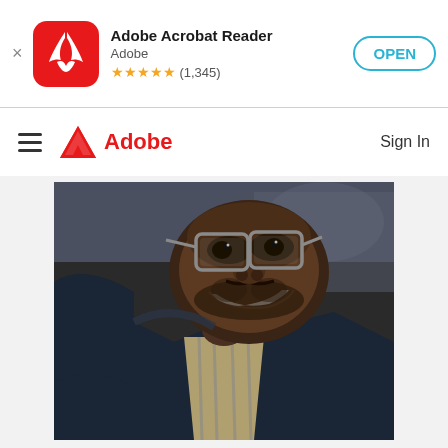Adobe Acrobat Reader — Adobe — ★★★★★ (1,345) — OPEN
Adobe
Sign In
[Figure (photo): A smiling man wearing large clear-framed glasses and a dark blue jacket over a striped shirt, photographed from a low angle looking up at him]